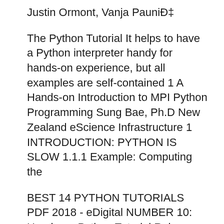Justin Ormont, Vanja PauniĐ‡
The Python Tutorial It helps to have a Python interpreter handy for hands-on experience, but all examples are self-contained 1 A Hands-on Introduction to MPI Python Programming Sung Bae, Ph.D New Zealand eScience Infrastructure 1 INTRODUCTION: PYTHON IS SLOW 1.1.1 Example: Computing the
BEST 14 PYTHON TUTORIALS PDF 2018 - eDigital NUMBER 10: Hands-on Python Tutorial Release 1.0 for Python Version 3.1+ Publisher: Loyola University Chicago. Hands-On Python A Tutorial Introduction for Beginners Python 3.1 Version Dr. Andrew N. Harrington Computer